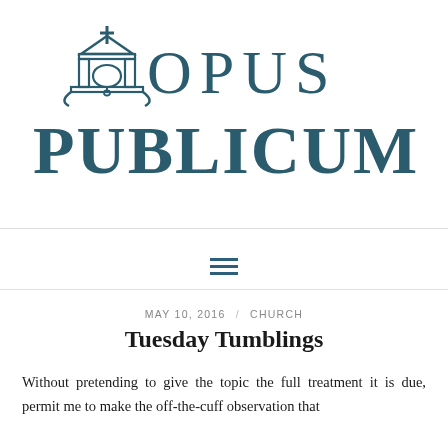[Figure (logo): Opus Publicum logo with a bell tower icon and the text OPUS PUBLICUM in dark teal serif font]
[Figure (other): Hamburger menu icon with three horizontal lines]
MAY 10, 2016 / CHURCH
Tuesday Tumblings
Without pretending to give the topic the full treatment it is due, permit me to make the off-the-cuff observation that